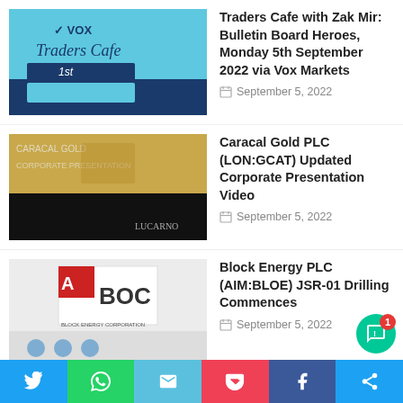Traders Cafe with Zak Mir: Bulletin Board Heroes, Monday 5th September 2022 via Vox Markets — September 5, 2022
Caracal Gold PLC (LON:GCAT) Updated Corporate Presentation Video — September 5, 2022
Block Energy PLC (AIM:BLOE) JSR-01 Drilling Commences — September 5, 2022
Prospex Energy PLC (AIM:PXEN) Successful Fund Raise of £500,000 — September 5, 2022
RNS Hotlist with Zak Mir: CLON, AVCT, ITX, GCAT, JLP, 88E, UFO, BMV, POW, FUZ, PXEN, TM1, PRR, ATOM, BLO…